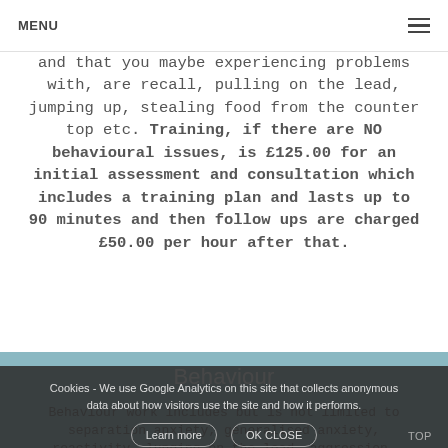MENU  ☰
and that you maybe experiencing problems with, are recall, pulling on the lead, jumping up, stealing food from the counter top etc. Training, if there are NO behavioural issues, is £125.00 for an initial assessment and consultation which includes a training plan and lasts up to 90 minutes and then follow ups are charged £50.00 per hour after that.
Behaviour
Behaviour work includes but is not limited to separation anxiety, generalised anxiety, reactivity, lunging on the lead, aggression, destruction in the home, including chewing, toileting, resource guarding and predatory drift.
Cookies - We use Google Analytics on this site that collects anonymous data about how visitors use the site and how it performs.